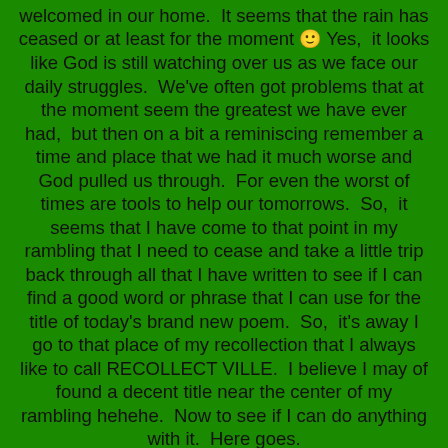welcomed in our home.  It seems that the rain has ceased or at least for the moment 🙂 Yes,  it looks like God is still watching over us as we face our daily struggles.  We've often got problems that at the moment seem the greatest we have ever had,  but then on a bit a reminiscing remember a time and place that we had it much worse and God pulled us through.  For even the worst of times are tools to help our tomorrows.  So,  it seems that I have come to that point in my rambling that I need to cease and take a little trip back through all that I have written to see if I can find a good word or phrase that I can use for the title of today's brand new poem.  So,  it's away I go to that place of my recollection that I always like to call RECOLLECT VILLE.  I believe I may of found a decent title near the center of my rambling hehehe.  Now to see if I can do anything with it.  Here goes.